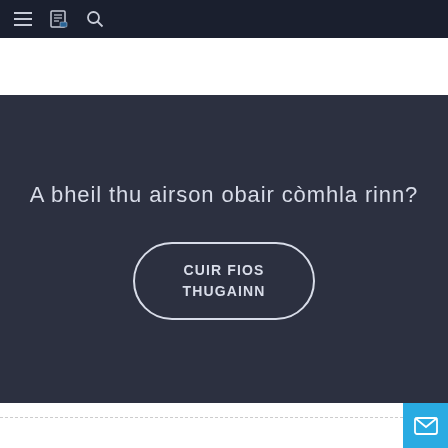[Figure (screenshot): Navigation bar with hamburger menu, book icon, and search icon on dark background]
A bheil thu airson obair còmhla rinn?
CUIR FIOS THUGAINN
[Figure (other): Cyan/blue email icon button in bottom right corner]